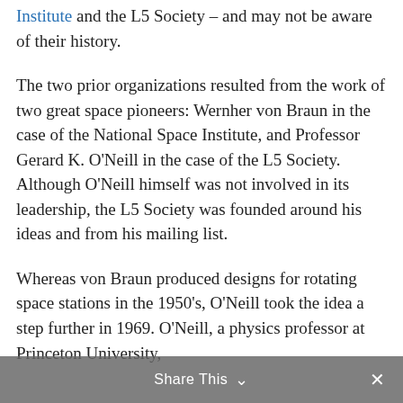Institute and the L5 Society – and may not be aware of their history.
The two prior organizations resulted from the work of two great space pioneers: Wernher von Braun in the case of the National Space Institute, and Professor Gerard K. O'Neill in the case of the L5 Society. Although O'Neill himself was not involved in its leadership, the L5 Society was founded around his ideas and from his mailing list.
Whereas von Braun produced designs for rotating space stations in the 1950's, O'Neill took the idea a step further in 1969. O'Neill, a physics professor at Princeton University,
Share This ∨  ✕